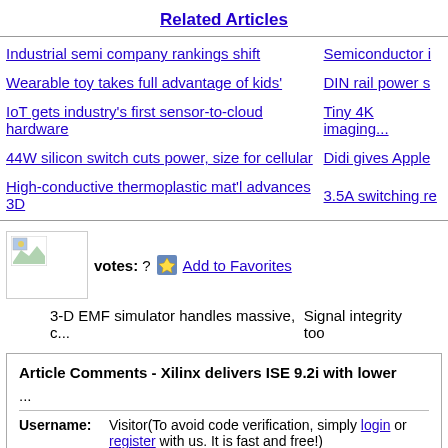Related Articles
Industrial semi company rankings shift
Semiconductor i
Wearable toy takes full advantage of kids'
DIN rail power s
IoT gets industry's first sensor-to-cloud hardware
Tiny 4K imaging...
44W silicon switch cuts power, size for cellular
Didi gives Apple
High-conductive thermoplastic mat'l advances 3D
3.5A switching re
[Figure (illustration): Small image placeholder with broken image icon]
votes: ? Add to Favorites
3-D EMF simulator handles massive, c...
Signal integrity too
Article Comments - Xilinx delivers ISE 9.2i with lower ...
Username:   Visitor(To avoid code verification, simply login or register with us. It is fast and free!)
Comments:??